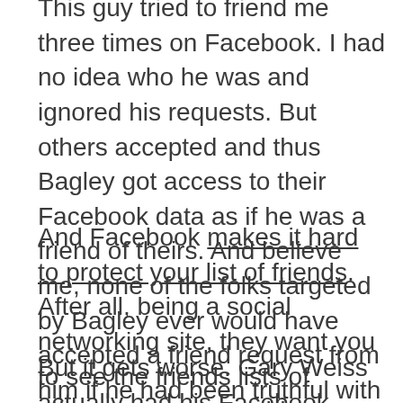This guy tried to friend me three times on Facebook. I had no idea who he was and ignored his requests. But others accepted and thus Bagley got access to their Facebook data as if he was a friend of theirs. And believe me, none of the folks targeted by Bagley ever would have accepted a friend request from him if he had been truthful with his identity.
And Facebook makes it hard to protect your list of friends. After all, being a social networking site, they want you to see the friends lists of others so you can add more friends, and thus the participation grows virally.
But it gets worse. Gary Weiss actually had his Facebook account hacked into right at the same time this whole Larry Bergman thing